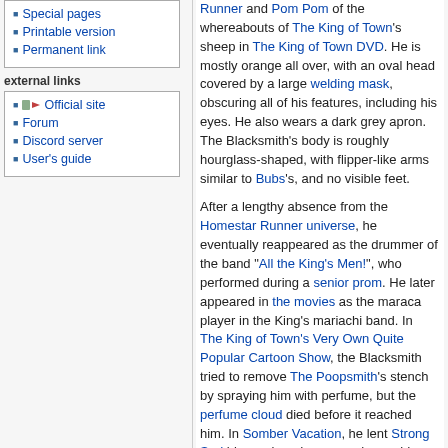Special pages
Printable version
Permanent link
external links
Official site
Forum
Discord server
User's guide
Runner and Pom Pom of the whereabouts of The King of Town's sheep in The King of Town DVD. He is mostly orange all over, with an oval head covered by a large welding mask, obscuring all of his features, including his eyes. He also wears a dark grey apron. The Blacksmith's body is roughly hourglass-shaped, with flipper-like arms similar to Bubs's, and no visible feet.
After a lengthy absence from the Homestar Runner universe, he eventually reappeared as the drummer of the band "All the King's Men!", who performed during a senior prom. He later appeared in the movies as the maraca player in the King's mariachi band. In The King of Town's Very Own Quite Popular Cartoon Show, the Blacksmith tried to remove The Poopsmith's stench by spraying him with perfume, but the perfume cloud died before it reached him. In Somber Vacation, he lent Strong Sad his mask and apron so he could go to the beach.
Strong Bad seems to be fond of the